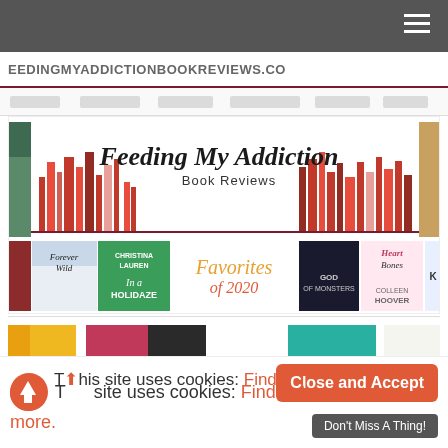FEEDINGMYADDICTIONBOOKREVIEWS.CO
[Figure (screenshot): Feeding My Addiction Book Reviews website banner with script font text 'Feeding My Addiction Book Reviews' over stylized book spines in red/pink tones]
[Figure (screenshot): Row of book cover thumbnails including 'Forever Wild', 'In a Holidaze' by Christina Lauren, 'Favorites of 2020' text, 'God of Monsters', 'Heart Bones' by Colleen Hoover]
[Figure (screenshot): Partial row of book cover thumbnails including yellow/orange, pink/red, teal/green and white covers]
This site uses cookies: Find out more.
Close and Accept
Don't Miss A Thing!